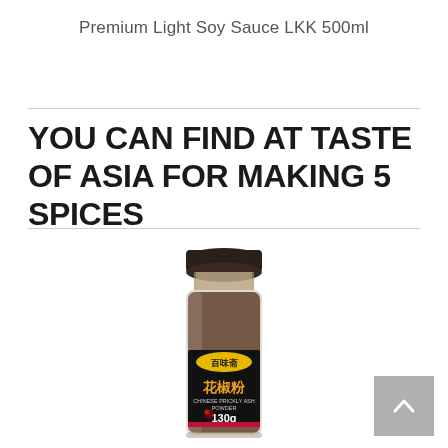Premium Light Soy Sauce LKK 500ml
YOU CAN FIND AT TASTE OF ASIA FOR MAKING 5 SPICES
[Figure (photo): A glass spice jar with a dark cap containing Chinese prickly ash powder (花椒粉), brand 百味斋, 130g, with a black label featuring Chinese characters and a red floral decoration at the bottom.]